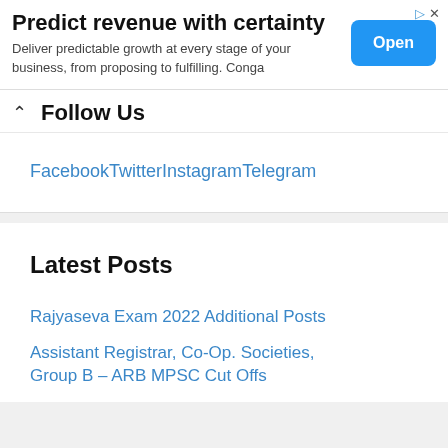[Figure (other): Advertisement banner: 'Predict revenue with certainty' with Open button]
Follow Us
FacebookTwitterInstagramTelegram
Latest Posts
Rajyaseva Exam 2022 Additional Posts
Assistant Registrar, Co-Op. Societies, Group B – ARB MPSC Cut Offs